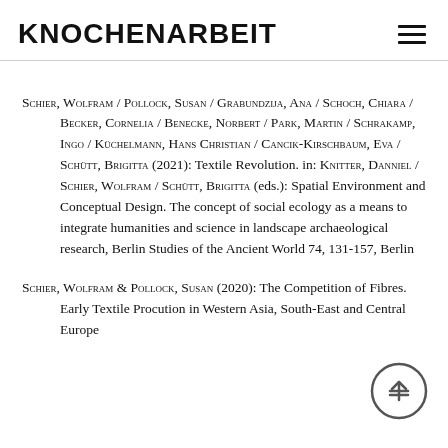KNOCHENARBEIT
Schier, Wolfram / Pollock, Susan / Grabundzija, Ana / Schoch, Chiara / Becker, Cornelia / Benecke, Norbert / Park, Martin / Schrakamp, Ingo / Küchelmann, Hans Christian / Cancik-Kirschbaum, Eva / Schütt, Brigitta (2021): Textile Revolution. in: Knitter, Danniel / Schier, Wolfram / Schütt, Brigitta (eds.): Spatial Environment and Conceptual Design. The concept of social ecology as a means to integrate humanities and science in landscape archaeological research, Berlin Studies of the Ancient World 74, 131-157, Berlin
Schier, Wolfram & Pollock, Susan (2020): The Competition of Fibres. Early Textile Procution in Western Asia, South-East and Central Europe